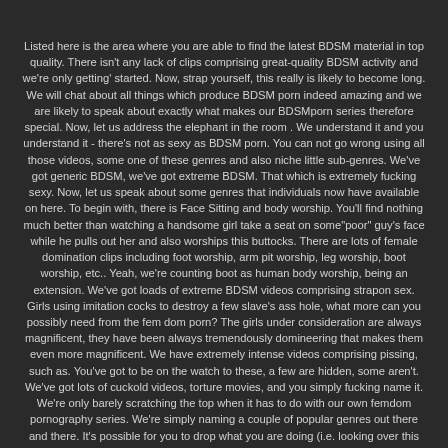Listed here is the area where you are able to find the latest BDSM material in top quality. There isn't any lack of clips comprising great-quality BDSM activity and we're only getting' started. Now, strap yourself, this really is likely to become long. We will chat about all things which produce BDSM porn indeed amazing and we are likely to speak about exactly what makes our BDSMporn series therefore special. Now, let us address the elephant in the room . We understand it and you understand it - there's not as sexy as BDSM porn. You can not go wrong using all those videos, some one of these genres and also niche little sub-genres. We've got generic BDSM, we've got extreme BDSM. That which is extremely fucking sexy. Now, let us speak about some genres that individuals now have available on here. To begin with, there is Face Sitting and body worship. You'll find nothing much better than watching a handsome girl take a seat on some"poor" guy's face while he pulls out her and also worships this buttocks. There are lots of female domination clips including foot worship, arm pit worship, leg worship, boot worship, etc.. Yeah, we're counting boot as human body worship, being an extension. We've got loads of extreme BDSM videos comprising strapon sex. Girls using imitation cocks to destroy a few slave's ass hole, what more can you possibly need from the fem dom porn? The girls under consideration are always magnificent, they have been always tremendously domineering that makes them even more magnificent. We have extremely intense videos comprising pissing, such as. You've got to be on the watch to these, a few are hidden, some aren't. We've got lots of cuckold videos, torture movies, and you simply fucking name it. We're only barely scratching the top when it has to do with our own femdom pornography series. We're simply naming a couple of popular genres out there and there. It's possible for you to drop what you are doing (i.e. looking over this enlightening message) and determine just how deep the rabbit hole goes. You're going to be ignored by the sheer elegance and high quality of our BDSM XXX selection. Talking about